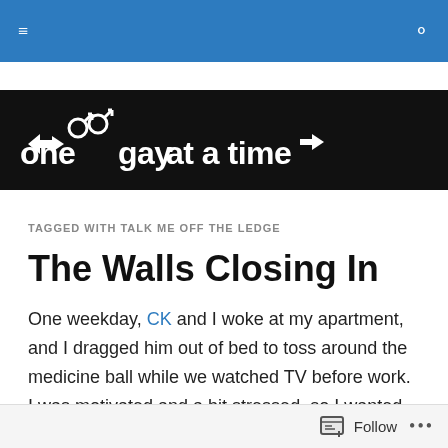One Gay at a Time — navigation bar
[Figure (logo): One Gay at a Time blog logo: white stylized text on black background with male gender symbols]
TAGGED WITH TALK ME OFF THE LEDGE
The Walls Closing In
One weekday, CK and I woke at my apartment, and I dragged him out of bed to toss around the medicine ball while we watched TV before work. I was motivated and a bit stressed, so I wanted to work out. We talked about working together to get our bodies back in shape before
Follow